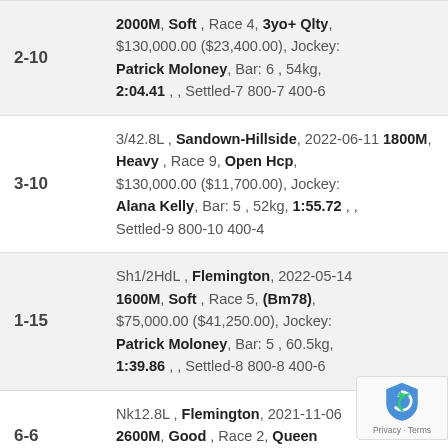| ID | Race Info |
| --- | --- |
| 2-10 | 2000M, Soft , Race 4, 3yo+ Qlty, $130,000.00 ($23,400.00), Jockey: Patrick Moloney, Bar: 6 , 54kg, 2:04.41 , , Settled-7 800-7 400-6 |
| 3-10 | 3/42.8L , Sandown-Hillside, 2022-06-11 1800M, Heavy , Race 9, Open Hcp, $130,000.00 ($11,700.00), Jockey: Alana Kelly, Bar: 5 , 52kg, 1:55.72 , , Settled-9 800-10 400-4 |
| 1-15 | Sh1/2HdL , Flemington, 2022-05-14 1600M, Soft , Race 5, (Bm78), $75,000.00 ($41,250.00), Jockey: Patrick Moloney, Bar: 5 , 60.5kg, 1:39.86 , , Settled-8 800-8 400-6 |
| 6-6 | Nk12.8L , Flemington, 2021-11-06 2600M, Good , Race 2, Queen Elizabeth, $301,300.00 ($6,000.00), |